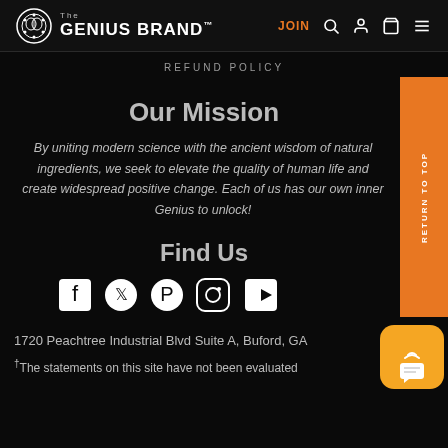The GENIUS BRAND | JOIN
REFUND POLICY
Our Mission
By uniting modern science with the ancient wisdom of natural ingredients, we seek to elevate the quality of human life and create widespread positive change. Each of us has our own inner Genius to unlock!
Find Us
[Figure (infographic): Social media icons: Facebook, Twitter, Pinterest, Instagram, YouTube]
1720 Peachtree Industrial Blvd Suite A, Buford, GA
†The statements on this site have not been evaluated